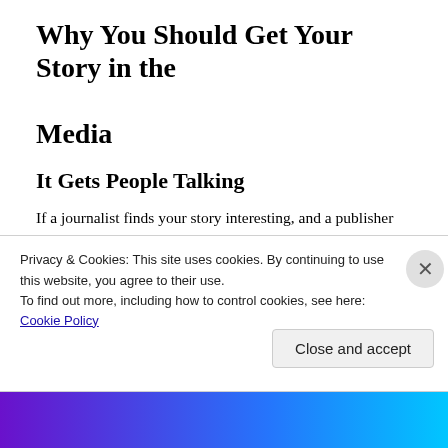Why You Should Get Your Story in the Media
It Gets People Talking
If a journalist finds your story interesting, and a publisher thinks it is interesting enough to write about, then thousands of other people will too. I published a feature story about "What really goes on during spring break," and
Privacy & Cookies: This site uses cookies. By continuing to use this website, you agree to their use.
To find out more, including how to control cookies, see here: Cookie Policy
Close and accept